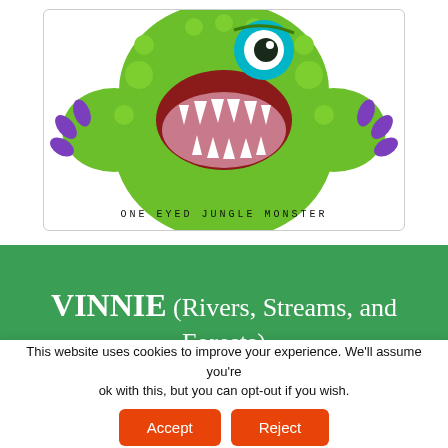[Figure (illustration): Cartoon illustration of a green one-eyed jungle monster with large teeth, purple claws, and fluffy fur, with the text 'ONE EYED JUNGLE MONSTER' written in hand-drawn style below it]
ONE EYED JUNGLE MONSTER
VINNIE (Rivers, Streams, and Forests)
This website uses cookies to improve your experience. We'll assume you're ok with this, but you can opt-out if you wish.
Accept | Reject